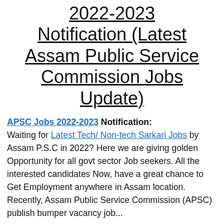2022-2023 Notification (Latest Assam Public Service Commission Jobs Update)
APSC Jobs 2022-2023 Notification: Waiting for Latest Tech/ Non-tech Sarkari Jobs by Assam P.S.C in 2022? Here we are giving golden Opportunity for all govt sector Job seekers. All the interested candidates Now, have a great chance to Get Employment anywhere in Assam location. Recently, Assam Public Service Commission (APSC) publish bumper vacancy job...